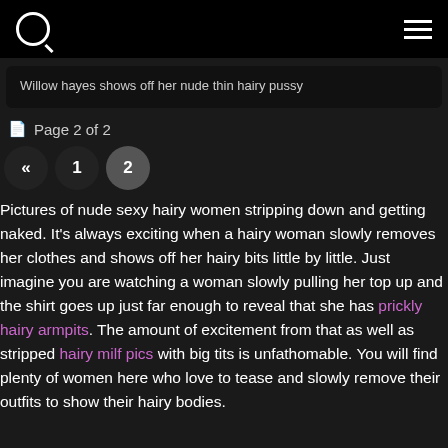Willow hayes shows off her nude thin hairy pussy
Page 2 of 2
Pictures of nude sexy hairy women stripping down and getting naked. It's always exciting when a hairy woman slowly removes her clothes and shows off her hairy bits little by little. Just imagine you are watching a woman slowly pulling her top up and the shirt goes up just far enough to reveal that she has prickly hairy armpits. The amount of excitement from that as well as stripped hairy milf pics with big tits is unfathomable. You will find plenty of women here who love to tease and slowly remove their outfits to show their hairy bodies.